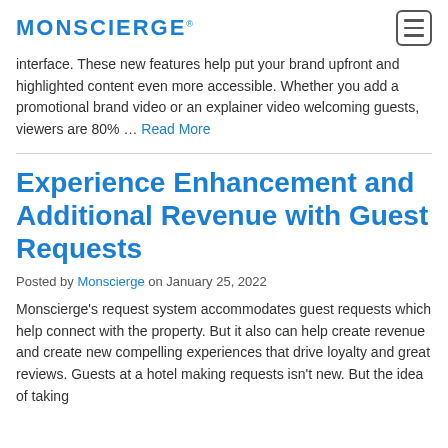MONSCIERGE
interface. These new features help put your brand upfront and highlighted content even more accessible. Whether you add a promotional brand video or an explainer video welcoming guests, viewers are 80% … Read More
Experience Enhancement and Additional Revenue with Guest Requests
Posted by Monscierge on January 25, 2022
Monscierge's request system accommodates guest requests which help connect with the property. But it also can help create revenue and create new compelling experiences that drive loyalty and great reviews. Guests at a hotel making requests isn't new. But the idea of taking